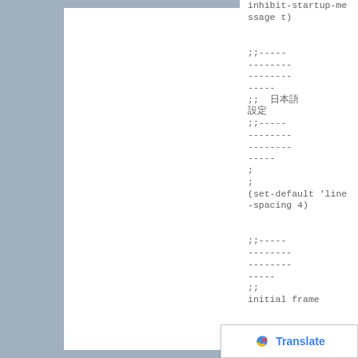inhibit-startup-message t)

;;---------------------------
;; 日本語設定
;;---------------------------
;
;
(set-default 'line-spacing 4)

;;---------------------------
;;
initial frame